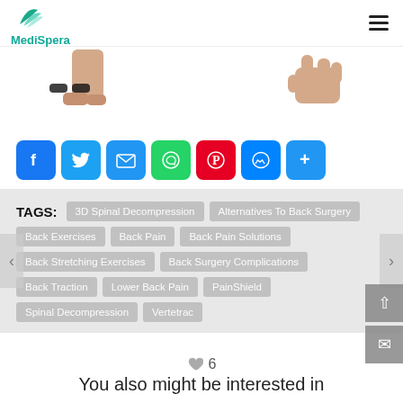MediSpera
[Figure (photo): Partial image showing feet/legs, cropped at page top, white background]
[Figure (infographic): Social share buttons: Facebook, Twitter, Email, WhatsApp, Pinterest, Messenger, Share]
TAGS: 3D Spinal Decompression  Alternatives To Back Surgery  Back Exercises  Back Pain  Back Pain Solutions  Back Stretching Exercises  Back Surgery Complications  Back Traction  Lower Back Pain  PainShield  Spinal Decompression  Vertetrac
♥ 6
You also might be interested in